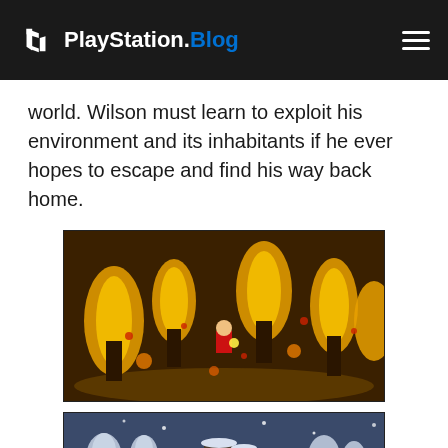PlayStation.Blog
world. Wilson must learn to exploit his environment and its inhabitants if he ever hopes to escape and find his way back home.
[Figure (screenshot): Game screenshot showing a character surrounded by burning trees at night in Don't Starve art style]
[Figure (screenshot): Game screenshot showing a snowy winter scene with structures and trees in Don't Starve art style]